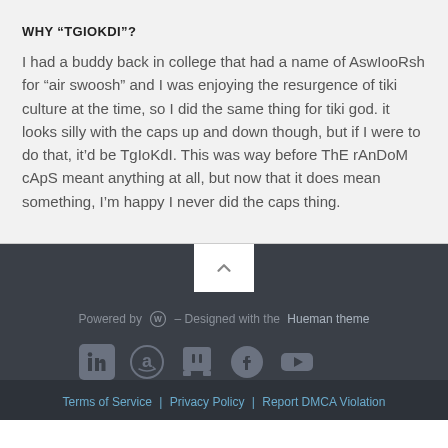WHY "TGIOKDI"?
I had a buddy back in college that had a name of AswIooRsh for "air swoosh" and I was enjoying the resurgence of tiki culture at the time, so I did the same thing for tiki god. it looks silly with the caps up and down though, but if I were to do that, it'd be TgIoKdI. This was way before ThE rAnDoM cApS meant anything at all, but now that it does mean something, I'm happy I never did the caps thing.
Powered by [WordPress] – Designed with the Hueman theme
Terms of Service | Privacy Policy | Report DMCA Violation